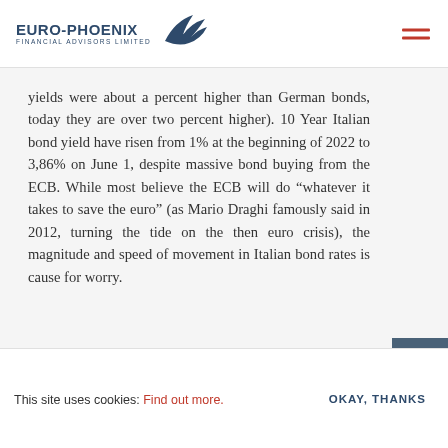EURO-PHOENIX FINANCIAL ADVISORS LIMITED
yields were about a percent higher than German bonds, today they are over two percent higher). 10 Year Italian bond yield have risen from 1% at the beginning of 2022 to 3,86% on June 1, despite massive bond buying from the ECB. While most believe the ECB will do “whatever it takes to save the euro” (as Mario Draghi famously said in 2012, turning the tide on the then euro crisis), the magnitude and speed of movement in Italian bond rates is cause for worry.
This site uses cookies: Find out more. OKAY, THANKS